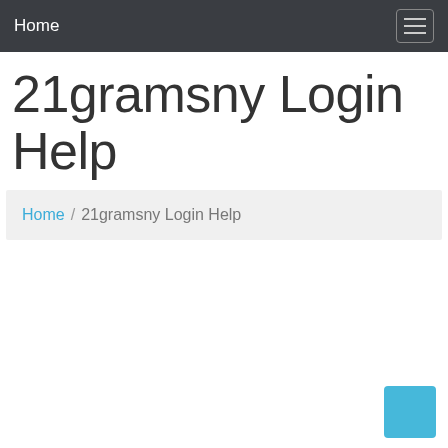Home
21gramsny Login Help
Home / 21gramsny Login Help